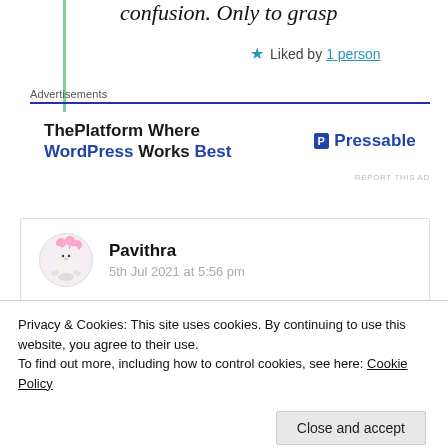confusion. Only to grasp
★ Liked by 1 person
Advertisements
[Figure (other): Pressable advertisement banner: 'ThePlatform Where WordPress Works Best' with Pressable logo]
REPORT THIS AD
Pavithra
5th Jul 2021 at 5:56 pm
Interesting!! Loved reading your thoughts ❤
Privacy & Cookies: This site uses cookies. By continuing to use this website, you agree to their use.
To find out more, including how to control cookies, see here: Cookie Policy
Close and accept